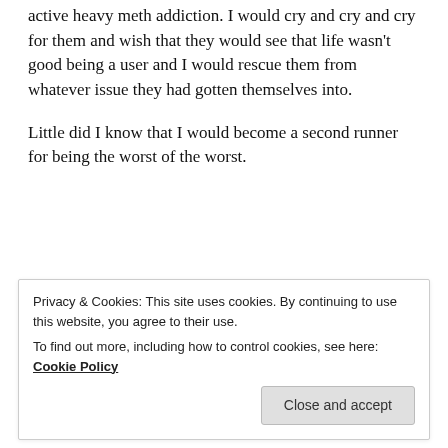active heavy meth addiction. I would cry and cry and cry for them and wish that they would see that life wasn't good being a user and I would rescue them from whatever issue they had gotten themselves into.

Little did I know that I would become a second runner for being the worst of the worst.
[Figure (screenshot): WooCommerce advertisement banner: 'How to start selling subscriptions online']
Privacy & Cookies: This site uses cookies. By continuing to use this website, you agree to their use.
To find out more, including how to control cookies, see here: Cookie Policy
Close and accept